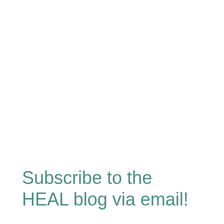Subscribe to the HEAL blog via email!